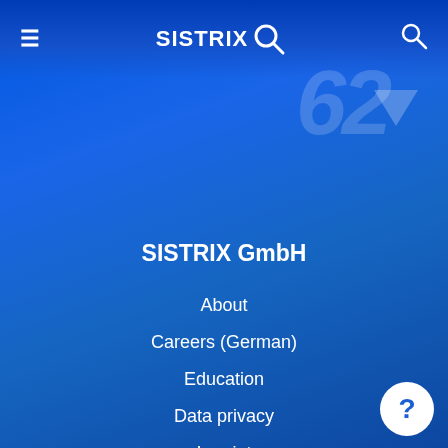SISTRIX
SISTRIX GmbH
About
Careers (German)
Education
Data privacy
Imprint
Software
Pricing